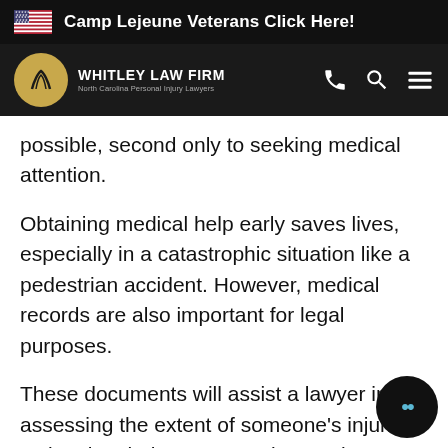Camp Lejeune Veterans Click Here!
[Figure (logo): Whitley Law Firm logo — North Carolina Personal Injury Lawyers]
possible, second only to seeking medical attention.
Obtaining medical help early saves lives, especially in a catastrophic situation like a pedestrian accident. However, medical records are also important for legal purposes.
These documents will assist a lawyer in assessing the extent of someone's injuries, estimating their compensation, and presenting a compelling case. Beyond medical costs, they can also seek compensation for the following damages: